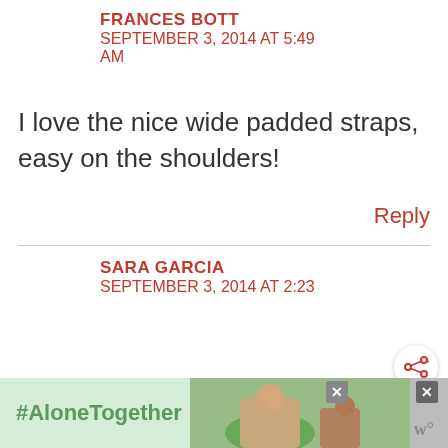FRANCES BOTT
SEPTEMBER 3, 2014 AT 5:49 AM
I love the nice wide padded straps, easy on the shoulders!
Reply
SARA GARCIA
SEPTEMBER 3, 2014 AT 2:23
#AloneTogether